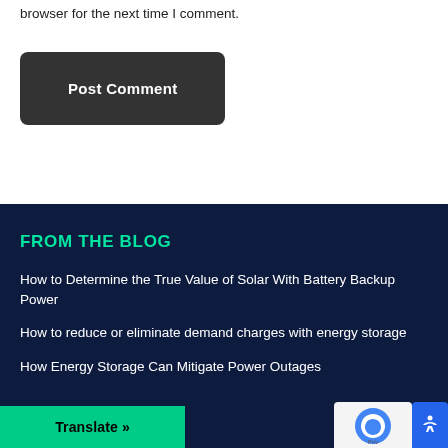browser for the next time I comment.
Post Comment
FROM THE BLOG
How to Determine the True Value of Solar With Battery Backup Power
How to reduce or eliminate demand charges with energy storage
How Energy Storage Can Mitigate Power Outages
Translate »